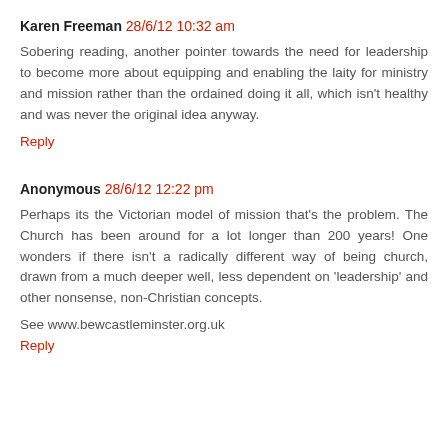Karen Freeman 28/6/12 10:32 am
Sobering reading, another pointer towards the need for leadership to become more about equipping and enabling the laity for ministry and mission rather than the ordained doing it all, which isn't healthy and was never the original idea anyway.
Reply
Anonymous 28/6/12 12:22 pm
Perhaps its the Victorian model of mission that's the problem. The Church has been around for a lot longer than 200 years! One wonders if there isn't a radically different way of being church, drawn from a much deeper well, less dependent on 'leadership' and other nonsense, non-Christian concepts.
See www.bewcastleminster.org.uk
Reply